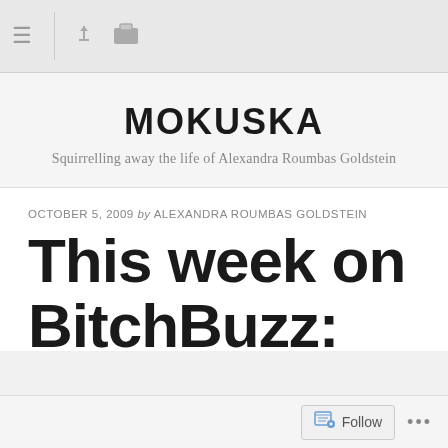[Figure (screenshot): Browser toolbar with hamburger menu icon, pin icon, and folder icon on grey background]
MOKUSKA
Squirrelling away the life of Alexandra Roumbas Goldstein
OCTOBER 5, 2009 by ALEXANDRA ROUMBAS GOLDSTEIN
This week on BitchBuzz: simple recipes and women's resources